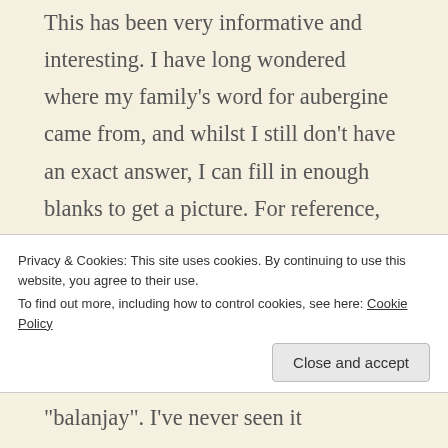This has been very informative and interesting. I have long wondered where my family's word for aubergine came from, and whilst I still don't have an exact answer, I can fill in enough blanks to get a picture. For reference, my family descend from Indian immigrants to the Caribbean, settling in Saint Vincent and the Grenadines, you
Privacy & Cookies: This site uses cookies. By continuing to use this website, you agree to their use.
To find out more, including how to control cookies, see here: Cookie Policy
"balanjay". I've never seen it